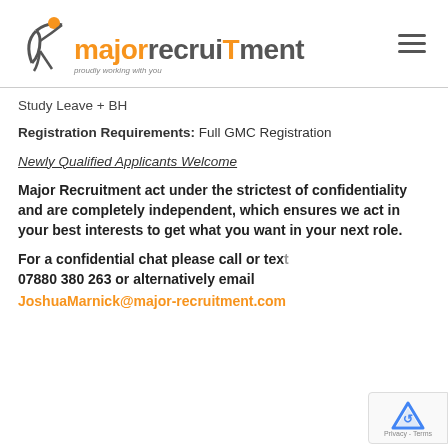[Figure (logo): Major Recruitment logo with orange figure icon and tagline 'proudly working with you', plus hamburger menu icon]
Study Leave + BH
Registration Requirements: Full GMC Registration
Newly Qualified Applicants Welcome
Major Recruitment act under the strictest of confidentiality and are completely independent, which ensures we act in your best interests to get what you want in your next role.
For a confidential chat please call or text 07880 380 263 or alternatively email JoshuaMarnick@major-recruitment.com